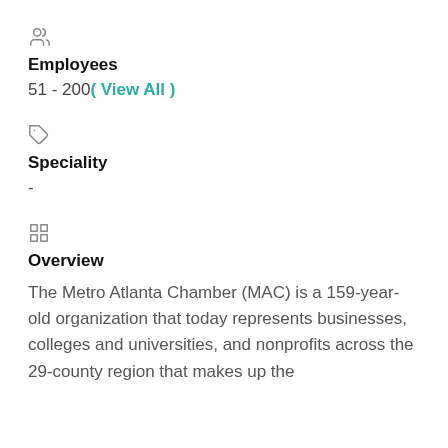Employees
51 - 200( View All )
Speciality
-
Overview
The Metro Atlanta Chamber (MAC) is a 159-year-old organization that today represents businesses, colleges and universities, and nonprofits across the 29-county region that makes up the